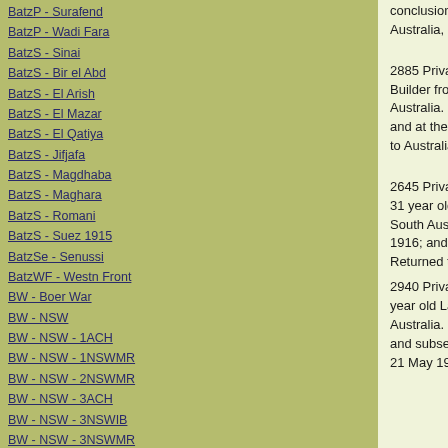BatzP - Surafend
BatzP - Wadi Fara
BatzS - Sinai
BatzS - Bir el Abd
BatzS - El Arish
BatzS - El Mazar
BatzS - El Qatiya
BatzS - Jifjafa
BatzS - Magdhaba
BatzS - Maghara
BatzS - Romani
BatzS - Suez 1915
BatzSe - Senussi
BatzWF - Westn Front
BW - Boer War
BW - NSW
BW - NSW - 1ACH
BW - NSW - 1NSWMR
BW - NSW - 2NSWMR
BW - NSW - 3ACH
BW - NSW - 3NSWIB
BW - NSW - 3NSWMR
BW - NSW - 5ACH
BW - NSW - A Bty RAA
BW - NSW - AAMC
BW - NSW - Aust H
BW - NSW - Lancers
BW - NSW - NSW Inf
conclusion of the war Returned to Australia, 19 January 1919.
2885 Private John OFFEN, a 28 year old Builder from Everard Central, South Australia. He enlisted on 4 March 1916; and at the conclusion of the war Returned to Australia, 15 May 1919.
2645 Private Alfred Percival PACKER, a 31 year old Motor driver from Port Elliston, South Australia. He enlisted on 28 January 1916; and at the conclusion of the war Returned to Australia, 6 June 1919.
2940 Private William Alfred POPLE, a 24 year old Labourer from Gumeracha, South Australia. He enlisted on 22 January 1916; and subsequently Returned to Australia, 21 May 1917.